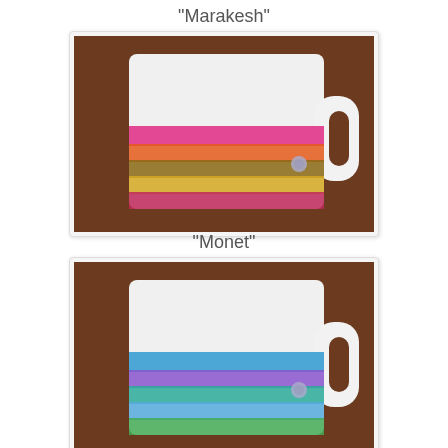"Marakesh"
[Figure (photo): A white ceramic coffee mug wrapped in a colorful crocheted cozy in shades of pink, orange, yellow, and brown, with a button closure, sitting on a wooden surface.]
"Monet"
[Figure (photo): A white ceramic coffee mug wrapped in a crocheted cozy in shades of blue, purple, and green with a button closure, sitting on a wooden surface.]